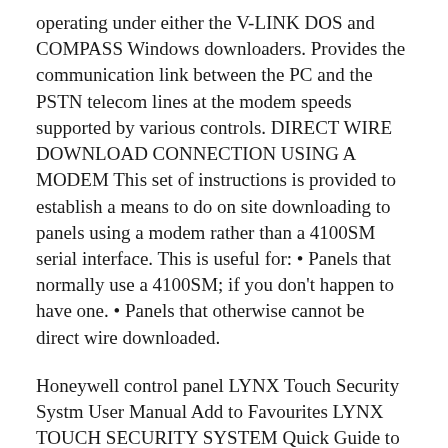operating under either the V-LINK DOS and COMPASS Windows downloaders. Provides the communication link between the PC and the PSTN telecom lines at the modem speeds supported by various controls. DIRECT WIRE DOWNLOAD CONNECTION USING A MODEM This set of instructions is provided to establish a means to do on site downloading to panels using a modem rather than a 4100SM serial interface. This is useful for: • Panels that normally use a 4100SM; if you don't happen to have one. • Panels that otherwise cannot be direct wire downloaded.
Honeywell control panel LYNX Touch Security Systm User Manual Add to Favourites LYNX TOUCH SECURITY SYSTEM Quick Guide to Home